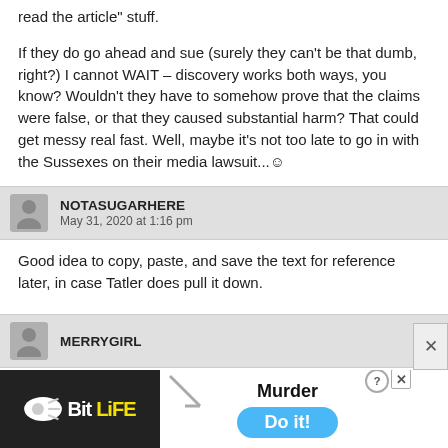read the article” stuff.
If they do go ahead and sue (surely they can’t be that dumb, right?) I cannot WAIT – discovery works both ways, you know? Wouldn’t they have to somehow prove that the claims were false, or that they caused substantial harm? That could get messy real fast. Well, maybe it’s not too late to go in with the Sussexes on their media lawsuit...☺
NOTASUGARHERE
May 31, 2020 at 1:16 pm
Good idea to copy, paste, and save the text for reference later, in case Tatler does pull it down.
MERRYGIRL
[Figure (screenshot): BitLife mobile game advertisement banner at bottom of page, showing BitLife logo on dark background on left and Murder/Do it! game prompt on white background on right with blue button.]